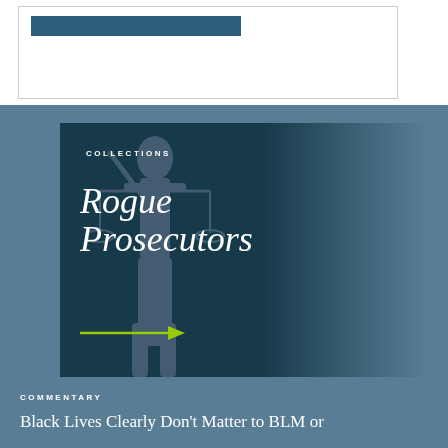[Figure (screenshot): White box with a dark blue button near top inside a bordered container]
[Figure (illustration): Collections card with dark teal background, Lady Justice silhouette, italic text reading 'Rogue Prosecutors', a green arrow, and 'COLLECTIONS' label]
COMMENTARY
Black Lives Clearly Don't Matter to BLM or